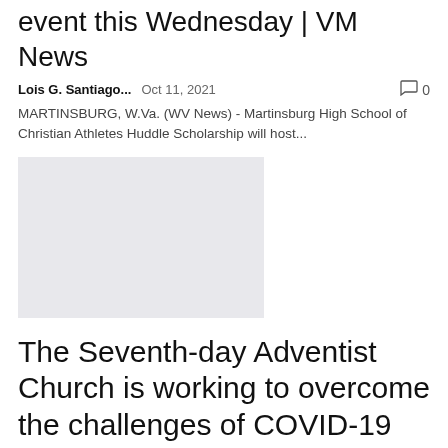event this Wednesday | VM News
Lois G. Santiago...    Oct 11, 2021      0
MARTINSBURG, W.Va. (WV News) - Martinsburg High School of Christian Athletes Huddle Scholarship will host...
[Figure (photo): Light gray image placeholder rectangle]
The Seventh-day Adventist Church is working to overcome the challenges of COVID-19